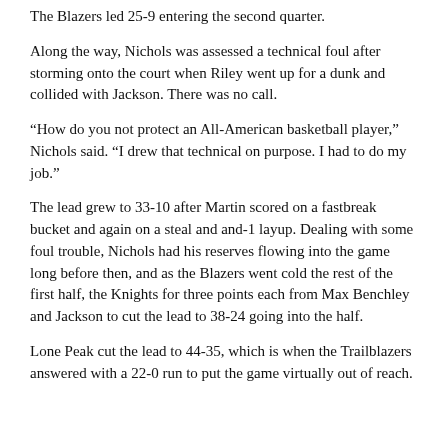The Blazers led 25-9 entering the second quarter.
Along the way, Nichols was assessed a technical foul after storming onto the court when Riley went up for a dunk and collided with Jackson. There was no call.
“How do you not protect an All-American basketball player,” Nichols said. “I drew that technical on purpose. I had to do my job.”
The lead grew to 33-10 after Martin scored on a fastbreak bucket and again on a steal and and-1 layup. Dealing with some foul trouble, Nichols had his reserves flowing into the game long before then, and as the Blazers went cold the rest of the first half, the Knights for three points each from Max Benchley and Jackson to cut the lead to 38-24 going into the half.
Lone Peak cut the lead to 44-35, which is when the Trailblazers answered with a 22-0 run to put the game virtually out of reach.